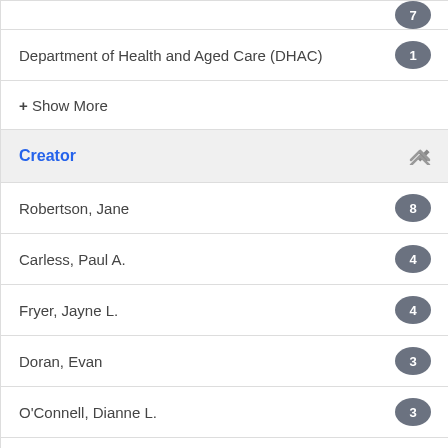Department of Health and Aged Care (DHAC) 1
+ Show More
Creator
Robertson, Jane 8
Carless, Paul A. 4
Fryer, Jayne L. 4
Doran, Evan 3
O'Connell, Dianne L. 3
Bonevski, Billie 2
Hill, Suzanne R. 2
Moxey, Annette J. 2